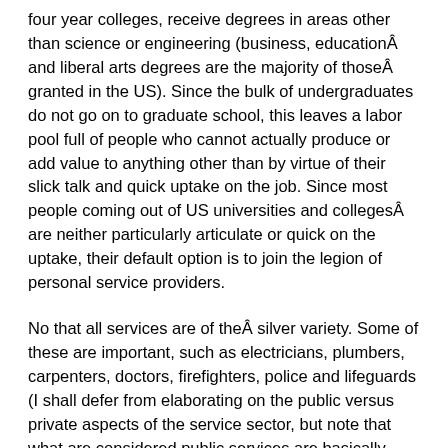four year colleges, receive degrees in areas other than science or engineering (business, educationÂ and liberal arts degrees are the majority of thoseÂ granted in the US). Since the bulk of undergraduates do not go on to graduate school, this leaves a labor pool full of people who cannot actually produce or add value to anything other than by virtue of their slick talk and quick uptake on the job. Since most people coming out of US universities and collegesÂ are neither particularly articulate or quick on the uptake, their default option is to join the legion of personal service providers.
No that all services are of theÂ silver variety. Some of these are important, such as electricians, plumbers, carpenters, doctors, firefighters, police and lifeguards (I shall defer from elaborating on the public versus private aspects of the service sector, but note that what are considered public services are basically considered to be core functions of government, many of which are being privatized and downsized in the current fiscal environment). Many services are linked via